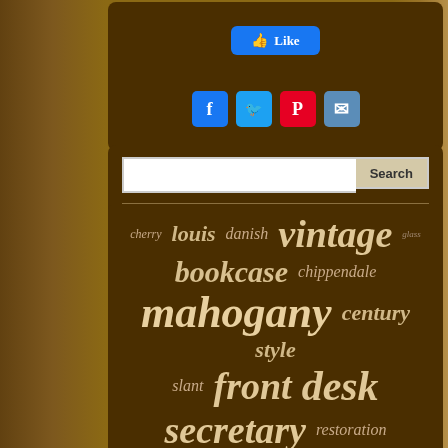[Figure (screenshot): Facebook Like button in blue rounded rectangle]
[Figure (screenshot): Social share icons: Facebook (blue), Twitter (light blue), Pinterest (red), Email (blue)]
[Figure (screenshot): Search bar with text input and Search button]
[Figure (infographic): Tag cloud / word cloud with furniture-related terms in varying sizes: cherry, louis, danish, vintage, glass, bookcase, chippendale, mahogany, century, style, slant, front, desk, secretary, restoration, furniture, victorian, modern, cabinet, french, hutch]